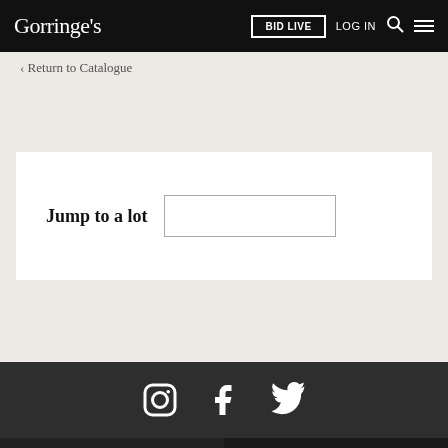Goringe's | BID LIVE | LOG IN
< Return to Catalogue
Jump to a lot
Social icons: Instagram, Facebook, Twitter